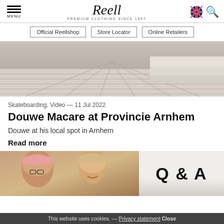MENU | Reell PREMIUM CLOTHING SINCE 1997
Official Reellshop | Store Locator | Online Retailers
[Figure (photo): Skateboarding spot photo showing white concrete ground lines and steps at Provincie Arnhem]
Skateboarding, Video — 11 Jul 2022
Douwe Macare at Provincie Arnhem
Douwe at his local spot in Arnhem
Read more
[Figure (photo): Two people wearing caps smiling outdoors]
Q & A
This website uses cookies. — Privacy statement Close